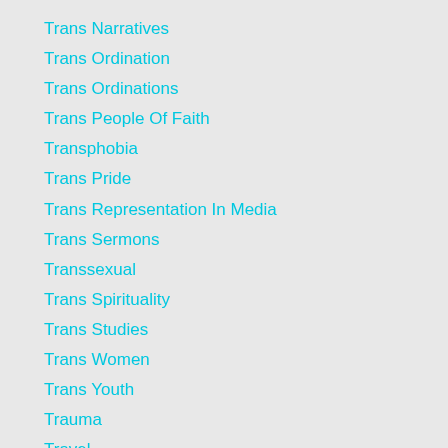Trans Narratives
Trans Ordination
Trans Ordinations
Trans People Of Faith
Transphobia
Trans Pride
Trans Representation In Media
Trans Sermons
Transsexual
Trans Spirituality
Trans Studies
Trans Women
Trans Youth
Trauma
Travel
Trinity Episcopal Cathedral Sacramento
Trump Gender Memo
UCC
Uganda